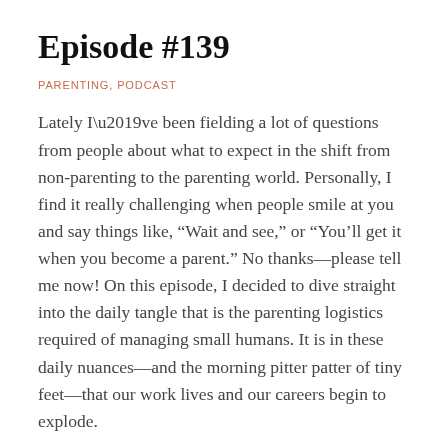Episode #139
PARENTING, PODCAST
Lately I’ve been fielding a lot of questions from people about what to expect in the shift from non-parenting to the parenting world. Personally, I find it really challenging when people smile at you and say things like, “Wait and see,” or “You’ll get it when you become a parent.” No thanks—please tell me now! On this episode, I decided to dive straight into the daily tangle that is the parenting logistics required of managing small humans. It is in these daily nuances—and the morning pitter patter of tiny feet—that our work lives and our careers begin to explode.
Toddler Germs: Why Does My Kid Keep Getting Sick?